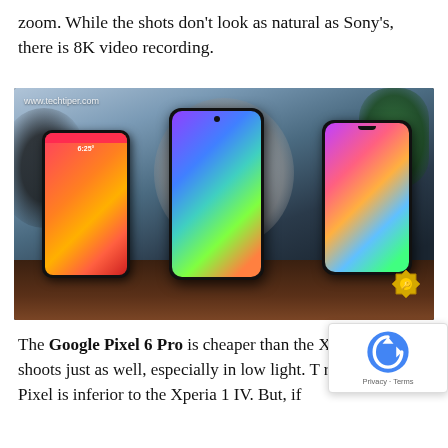zoom. While the shots don't look as natural as Sony's, there is 8K video recording.
[Figure (photo): Three smartphones standing upright on a wooden desk surface with blurred background. Left phone shows a colorful red/orange homescreen with time 6:25, center phone shows a colorful abstract/landscape wallpaper, right phone shows a colorful swirl wallpaper with app icons. Watermark reads www.techtiper.com. A gold hexagonal badge is in the bottom right corner.]
The Google Pixel 6 Pro is cheaper than the Xperia and shoots just as well, especially in low light. The rest of the Pixel is inferior to the Xperia 1 IV. But, if